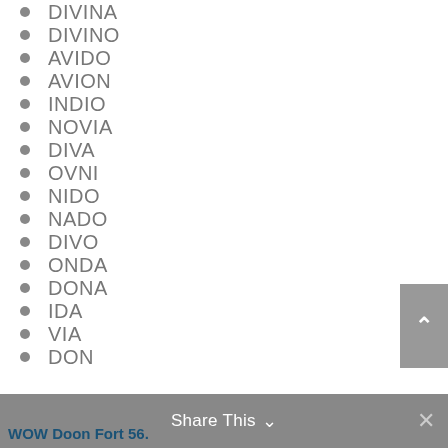DIVINA
DIVINO
AVIDO
AVION
INDIO
NOVIA
DIVA
OVNI
NIDO
NADO
DIVO
ONDA
DONA
IDA
VIA
DON
Share This  ×  WOW Doon Fort 56.